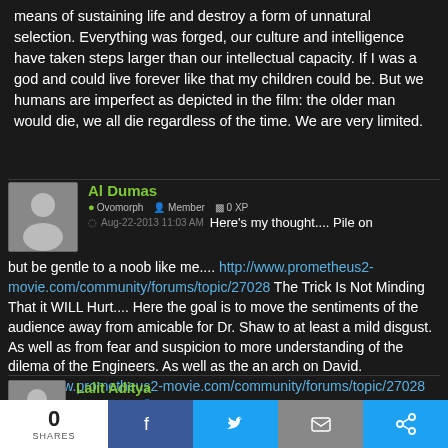means of sustaining life and destroy a form of unnatural selection. Everything was forged, our culture and intelligence have taken steps larger than our intellectual capacity. If I was a god and could live forever like that my children could be. But we humans are imperfect as depicted in the film: the older man would die, we all die regardless of the time. We are very limited.
Al Dumas
Ovomorph  Member  0 XP
Aug-22-2013 11:03 AM Here's my thought.... Pile on but be gentle to a noob like me.... http://www.prometheus2-movie.com/community/forums/topic/27028 The Trick Is Not Minding That it WILL Hurt.... Here the goal is to move the sentiments of the audience away from amicable for Dr. Shaw to at least a mild disgust. As well as from fear and suspicion to more understanding of the dilema of the Engineers. As well as the an arch on David. http://www.prometheus2-movie.com/community/forums/topic/27028
Lalit Aditya
Ovomorph  Member  0 XP
0 SHARES